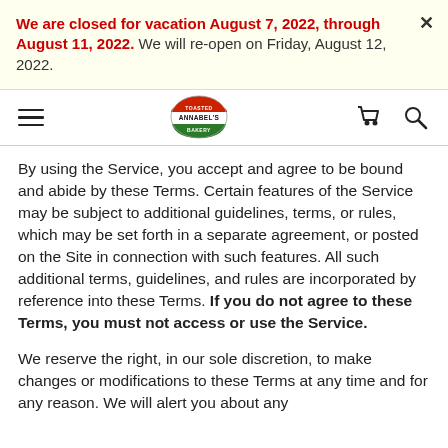We are closed for vacation August 7, 2022, through August 11, 2022.  We will re-open on Friday, August 12, 2022.
[Figure (logo): Annabel's bakery logo — circular badge with red top, green bottom, and the text ANNABEL'S in the center]
By using the Service, you accept and agree to be bound and abide by these Terms. Certain features of the Service may be subject to additional guidelines, terms, or rules, which may be set forth in a separate agreement, or posted on the Site in connection with such features. All such additional terms, guidelines, and rules are incorporated by reference into these Terms. If you do not agree to these Terms, you must not access or use the Service.
We reserve the right, in our sole discretion, to make changes or modifications to these Terms at any time and for any reason. We will alert you about any